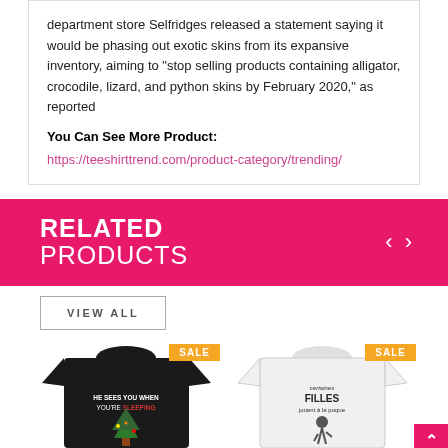department store Selfridges released a statement saying it would be phasing out exotic skins from its expansive inventory, aiming to “stop selling products containing alligator, crocodile, lizard, and python skins by February 2020,” as reported
You Can See More Product:
https://teeshirttrend.com/product-category/trending/
RELATED PRODUCTS
VIEW ALL
[Figure (photo): Black t-shirt with text 'HE SEES YOU WHEN YOU'RE SLEEPING' and a Christmas tree design, with SALE badge]
[Figure (photo): White t-shirt with French text 'certaines FILLES jouent à la poque' and a football player design, with SALE badge]